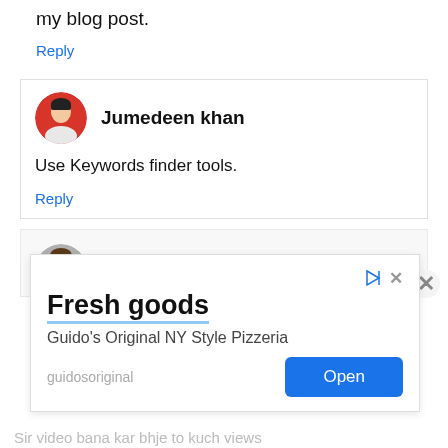my blog post.
Reply
Jumedeen khan
Use Keywords finder tools.
Reply
wasim akram
[Figure (illustration): Advertisement overlay: Fresh goods - Guido's Original NY Style Pizzeria with Open button]
Fresh goods
Guido's Original NY Style Pizzeria
guidosoriginal
Open
Sir video bana kar bhje to kuch views